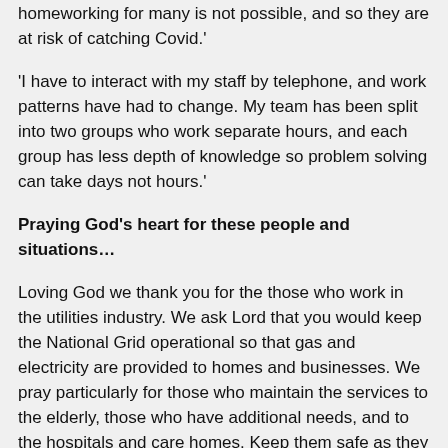homeworking for many is not possible, and so they are at risk of catching Covid.'
'I have to interact with my staff by telephone, and work patterns have had to change. My team has been split into two groups who work separate hours, and each group has less depth of knowledge so problem solving can take days not hours.'
Praying God's heart for these people and situations…
Loving God we thank you for the those who work in the utilities industry. We ask Lord that you would keep the National Grid operational so that gas and electricity are provided to homes and businesses. We pray particularly for those who maintain the services to the elderly, those who have additional needs, and to the hospitals and care homes. Keep them safe as they enter homes to fix problems and restore supplies. We ask too